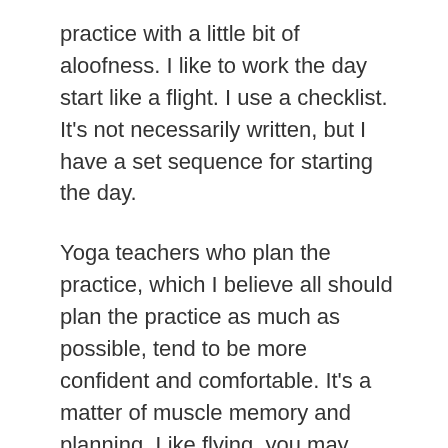practice with a little bit of aloofness. I like to work the day start like a flight. I use a checklist. It's not necessarily written, but I have a set sequence for starting the day.
Yoga teachers who plan the practice, which I believe all should plan the practice as much as possible, tend to be more confident and comfortable. It's a matter of muscle memory and planning. Like flying, you may need a cheat sheet in the beginning, but as you get more comfortable with teaching, you'll be able to remember the steps.
Point is this: Plan your day. Plan your practice. Plan